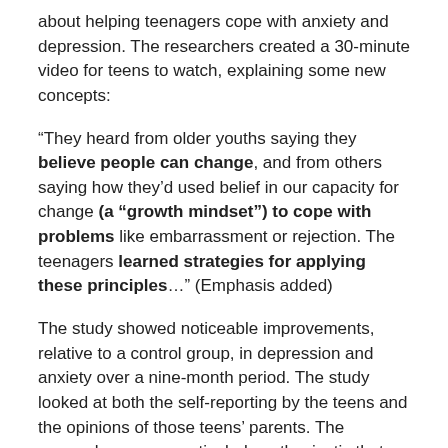about helping teenagers cope with anxiety and depression. The researchers created a 30-minute video for teens to watch, explaining some new concepts:
“They heard from older youths saying they believe people can change, and from others saying how they’d used belief in our capacity for change (a “growth mindset”) to cope with problems like embarrassment or rejection. The teenagers learned strategies for applying these principles…” (Emphasis added)
The study showed noticeable improvements, relative to a control group, in depression and anxiety over a nine-month period. The study looked at both the self-reporting by the teens and the opinions of those teens’ parents. The researchers were particularly enthusiastic that this brief video is scale-able, can be offered to all teens universally, and can set up kids for a more successful intervention later in their lives.